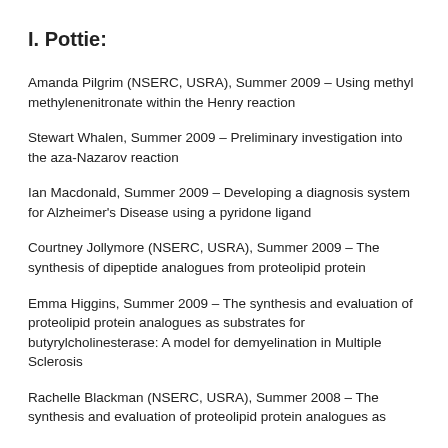I. Pottie:
Amanda Pilgrim (NSERC, USRA), Summer 2009 – Using methyl methylenenitronate within the Henry reaction
Stewart Whalen, Summer 2009 – Preliminary investigation into the aza-Nazarov reaction
Ian Macdonald, Summer 2009 – Developing a diagnosis system for Alzheimer's Disease using a pyridone ligand
Courtney Jollymore (NSERC, USRA), Summer 2009 – The synthesis of dipeptide analogues from proteolipid protein
Emma Higgins, Summer 2009 – The synthesis and evaluation of proteolipid protein analogues as substrates for butyrylcholinesterase: A model for demyelination in Multiple Sclerosis
Rachelle Blackman (NSERC, USRA), Summer 2008 – The synthesis and evaluation of proteolipid protein analogues as